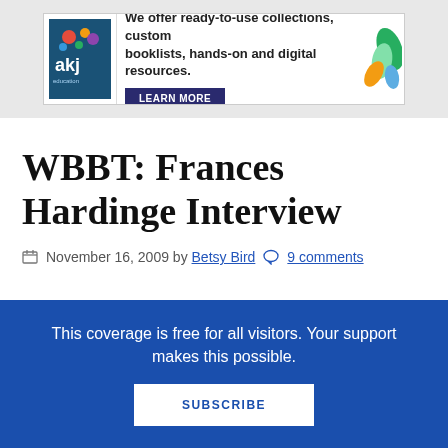[Figure (infographic): AKJ Education banner advertisement: logo with colorful design and text 'We offer ready-to-use collections, custom booklists, hands-on and digital resources.' with a LEARN MORE button and leaf/plant graphics]
WBBT: Frances Hardinge Interview
November 16, 2009 by Betsy Bird  9 comments
This coverage is free for all visitors. Your support makes this possible.
SUBSCRIBE